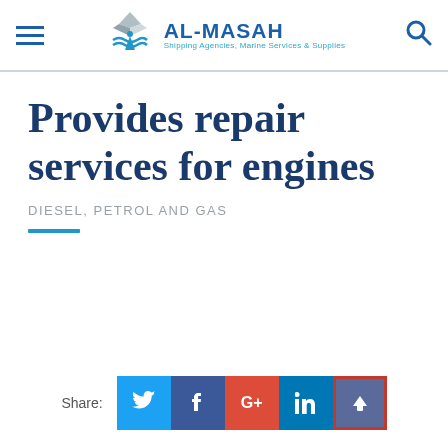AL-MASAH — Shipping Agencies, Marine Services & Supplies
Provides repair services for engines
DIESEL, PETROL AND GAS
Share: